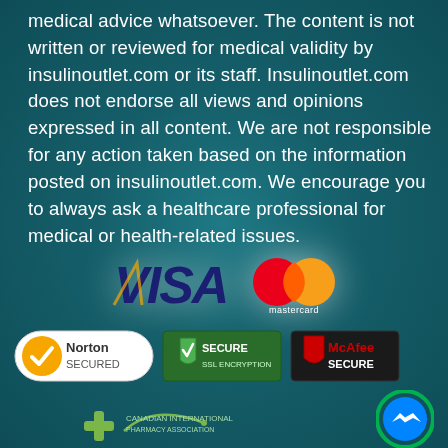medical advice whatsoever. The content is not written or reviewed for medical validity by insulinoutlet.com or its staff. Insulinoutlet.com does not endorse all views and opinions expressed in all content. We are not responsible for any action taken based on the information posted on insulinoutlet.com. We encourage you to always ask a healthcare professional for medical or health-related issues.
[Figure (logo): Visa and Mastercard payment logos side by side]
[Figure (logo): Norton Secured, Secure SSL Encryption, and McAfee Secure trust badges, plus a pharmacy plus logo and a Facebook Messenger icon]